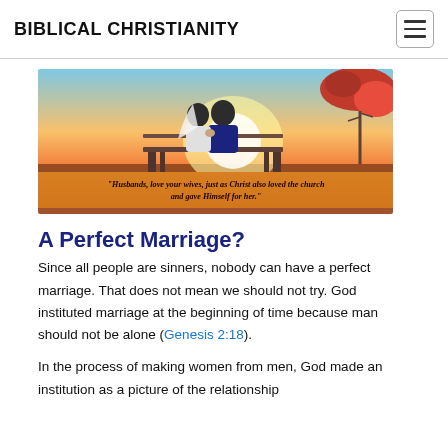BIBLICAL CHRISTIANITY
[Figure (photo): A couple sitting on a bench, viewed from behind, with a sunset and autumn foliage. A banner overlay reads: "Husbands, love your wives, just as Christ also loved the church and gave Himself for her."]
A Perfect Marriage?
Since all people are sinners, nobody can have a perfect marriage. That does not mean we should not try. God instituted marriage at the beginning of time because man should not be alone (Genesis 2:18).
In the process of making women from men, God made an institution as a picture of the relationship